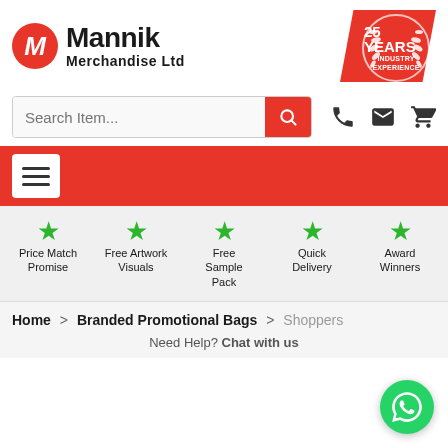[Figure (logo): Mannik Merchandise Ltd logo with red circle M icon and text, plus 25 Years Industry Experience badge ribbon in red]
[Figure (screenshot): Search bar with 'Search Item...' placeholder and red search button, plus phone, email, and cart icons]
[Figure (infographic): Red navigation bar with hamburger menu icon (white background)]
[Figure (infographic): Feature highlights: Price Match Promise, Free Artwork Visuals, Free Sample Pack, Quick Delivery, Award Winners — each with green star icon]
Home > Branded Promotional Bags > Shoppers
Need Help? Chat with us